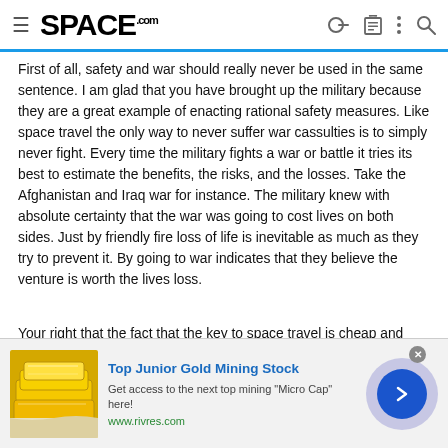SPACE.com
First of all, safety and war should really never be used in the same sentence. I am glad that you have brought up the military because they are a great example of enacting rational safety measures. Like space travel the only way to never suffer war cassulties is to simply never fight. Every time the military fights a war or battle it tries its best to estimate the benefits, the risks, and the losses. Take the Afghanistan and Iraq war for instance. The military knew with absolute certainty that the war was going to cost lives on both sides. Just by friendly fire loss of life is inevitable as much as they try to prevent it. By going to war indicates that they believe the venture is worth the lives loss.
Your right that the fact that the key to space travel is cheap and reliable rockets. The thing is that if NASA's reliability estimates are
[Figure (infographic): Advertisement banner for Top Junior Gold Mining Stock with gold bars image, text, and navigation arrow button. URL: www.rivres.com]